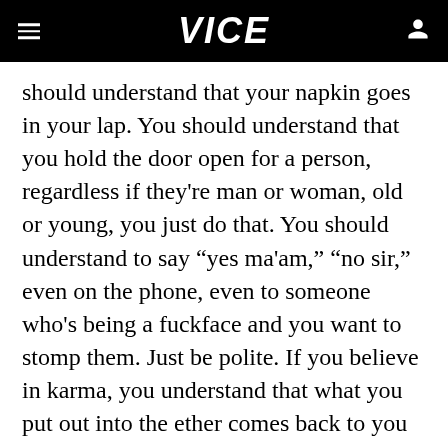VICE
should understand that your napkin goes in your lap. You should understand that you hold the door open for a person, regardless if they're man or woman, old or young, you just do that. You should understand to say “yes ma'am,” “no sir,” even on the phone, even to someone who's being a fuckface and you want to stomp them. Just be polite. If you believe in karma, you understand that what you put out into the ether comes back to you tenfold. Why would you not want that to be positivity, even in the face of a dismal, apathetic world? We gotta start somewhere. My mother raised me to mind my